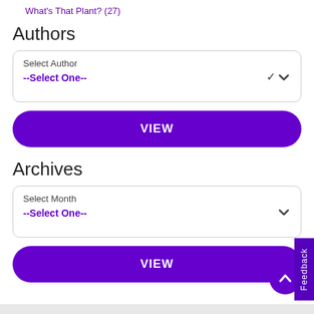What's That Plant? (27)
Authors
Select Author
--Select One--
VIEW
Archives
Select Month
--Select One--
VIEW
Feedback